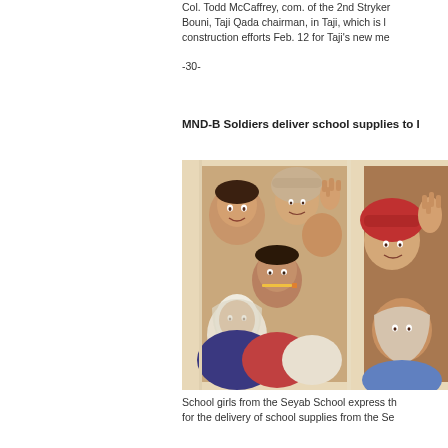Col. Todd McCaffrey, com. of the 2nd Stryker Bouni, Taji Qada chairman, in Taji, which is l construction efforts Feb. 12 for Taji's new me
-30-
MND-B Soldiers deliver school supplies to I
[Figure (photo): School girls looking through a window frame, waving and smiling at the camera. Some are wearing headscarves.]
School girls from the Seyab School express th for the delivery of school supplies from the Se